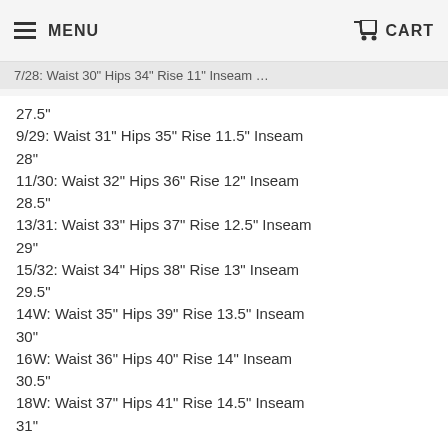MENU  CART
7/28: Waist 30" Hips 34" Rise 11" Inseam 27.5"
9/29: Waist 31" Hips 35" Rise 11.5" Inseam 28"
11/30: Waist 32" Hips 36" Rise 12" Inseam 28.5"
13/31: Waist 33" Hips 37" Rise 12.5" Inseam 29"
15/32: Waist 34" Hips 38" Rise 13" Inseam 29.5"
14W: Waist 35" Hips 39" Rise 13.5" Inseam 30"
16W: Waist 36" Hips 40" Rise 14" Inseam 30.5"
18W: Waist 37" Hips 41" Rise 14.5" Inseam 31"